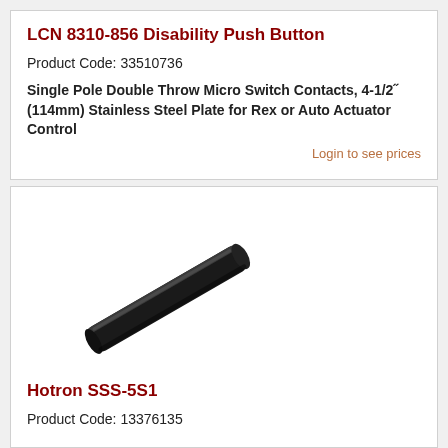LCN 8310-856 Disability Push Button
Product Code: 33510736
Single Pole Double Throw Micro Switch Contacts, 4-1/2" (114mm) Stainless Steel Plate for Rex or Auto Actuator Control
Login to see prices
[Figure (photo): Photo of Hotron SSS-5S1 product — a black cylindrical rod or bar component shown diagonally]
Hotron  SSS-5S1
Product Code: 13376135